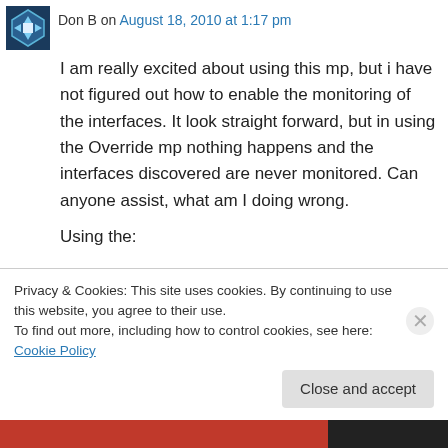Don B on August 18, 2010 at 1:17 pm
I am really excited about using this mp, but i have not figured out how to enable the monitoring of the interfaces. It look straight forward, but in using the Override mp nothing happens and the interfaces discovered are never monitored. Can anyone assist, what am I doing wrong.
Using the:
xsnmp mp
xsnmp override mp
Privacy & Cookies: This site uses cookies. By continuing to use this website, you agree to their use.
To find out more, including how to control cookies, see here: Cookie Policy
Close and accept